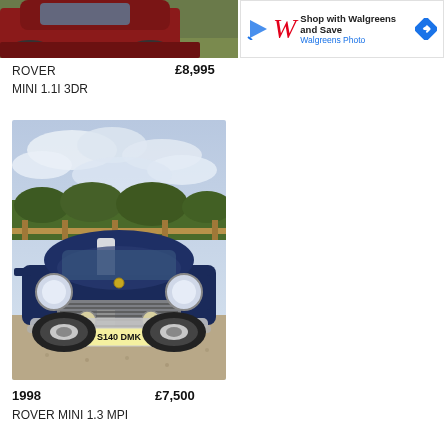[Figure (photo): Partial view of a red/dark car, cropped at top of page]
[Figure (screenshot): Walgreens advertisement banner: 'Shop with Walgreens and Save' with Walgreens Photo logo and blue arrow icon]
ROVER
£8,995
MINI 1.1I 3DR
[Figure (photo): 1998 Rover Mini 1.3 MPI in dark blue with white racing stripe, license plate S140 DMK, parked on gravel driveway with countryside background]
1998
£7,500
ROVER MINI 1.3 MPI